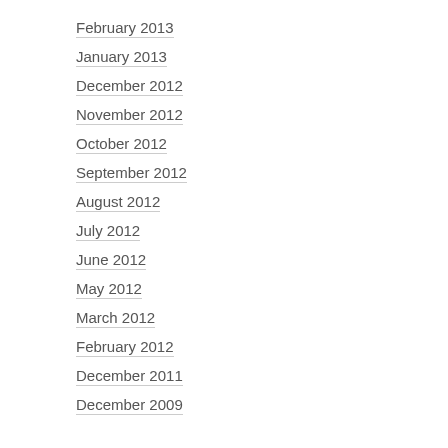February 2013
January 2013
December 2012
November 2012
October 2012
September 2012
August 2012
July 2012
June 2012
May 2012
March 2012
February 2012
December 2011
December 2009